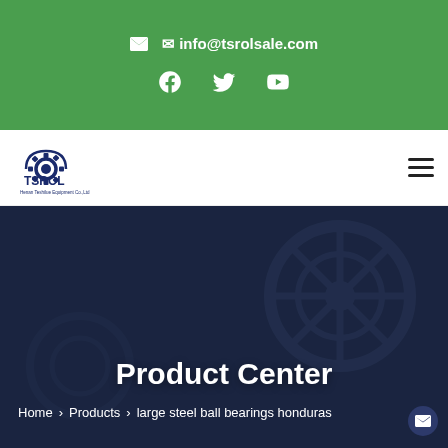✉ info@tsrolsale.com
[Figure (logo): TSROL logo with gear icon and company name]
Product Center
Home > Products > large steel ball bearings honduras